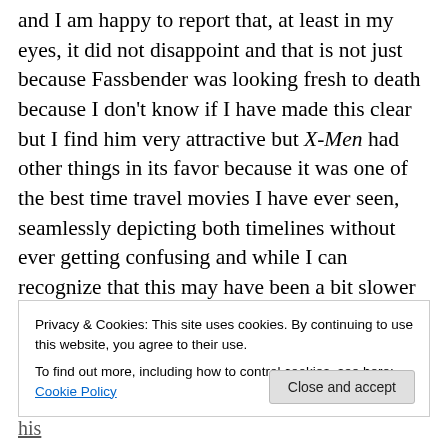and I am happy to report that, at least in my eyes, it did not disappoint and that is not just because Fassbender was looking fresh to death because I don't know if I have made this clear but I find him very attractive but X-Men had other things in its favor because it was one of the best time travel movies I have ever seen, seamlessly depicting both timelines without ever getting confusing and while I can recognize that this may have been a bit slower than X-Men films of the past, I loved all the character development ooey-gooey goodness, particularly Mystique, and despite an enormous cast of heavy hitters, no one
Privacy & Cookies: This site uses cookies. By continuing to use this website, you agree to their use.
To find out more, including how to control cookies, see here: Cookie Policy
Close and accept
wish we had gotten to see more of his Question of his